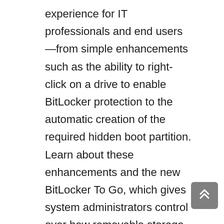experience for IT professionals and end users—from simple enhancements such as the ability to right-click on a drive to enable BitLocker protection to the automatic creation of the required hidden boot partition. Learn about these enhancements and the new BitLocker To Go, which gives system administrators control over how removable storage devices can be used and the strength of protection required.
Windows PowerShell 2.0
Explore how Windows PowerShell 2.0 can help increase the productivity of IT professionals by providing a powerful, complete scripting language to automate repetitive tasks and conduct remote